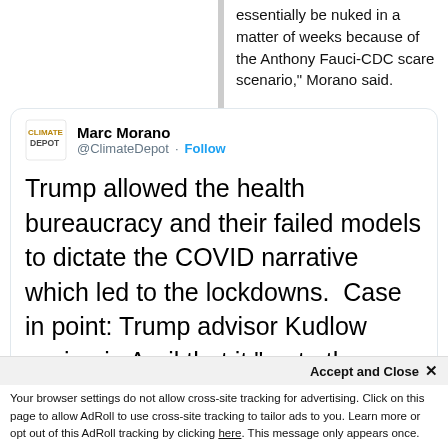essentially be nuked in a matter of weeks because of the Anthony Fauci-CDC scare scenario," Morano said.
Marc Morano @ClimateDepot · Follow
Trump allowed the health bureaucracy and their failed models to dictate the COVID narrative which led to the lockdowns.  Case in point: Trump advisor Kudlow saying in April that it "up to the health people" when the economy will reopen
Marc Morano @ClimateDepot
Watch (in horror) as Trump's adviser Larry Kudlow reveals USA's freedom is now captive to a public health dictatorship, and
Accept and Close ✕
Your browser settings do not allow cross-site tracking for advertising. Click on this page to allow AdRoll to use cross-site tracking to tailor ads to you. Learn more or opt out of this AdRoll tracking by clicking here. This message only appears once.